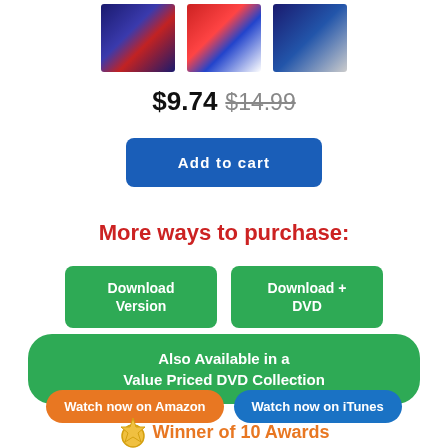[Figure (illustration): Three product thumbnail images side by side showing DVD/video course covers]
$9.74 $14.99
Add to cart
More ways to purchase:
Download Version
Download + DVD
Also Available in a Value Priced DVD Collection
Watch now on Amazon
Watch now on iTunes
Winner of 10 Awards